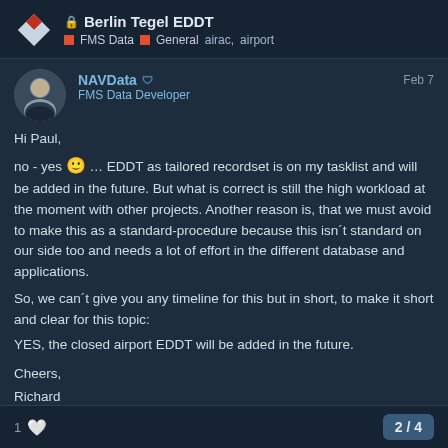Berlin Tegel EDDT — FMS Data, General, airac, airport
NAVData — FMS Data Developer — Feb 7
Hi Paul,
no - yes 🙂 … EDDT as tailored recordset is on my tasklist and will be added in the future. But what is correct is still the high workload at the moment with other projects. Another reason is, that we must avoid to make this as a standard-procedure because this isn´t standard on our side too and needs a lot of effort in the different database and applications.

So, we can´t give you any timeline for this but in short, to make it short and clear for this topic:
YES, the closed airport EDDT will be added in the future.

Cheers,
Richard
1 ♡   2 / 4